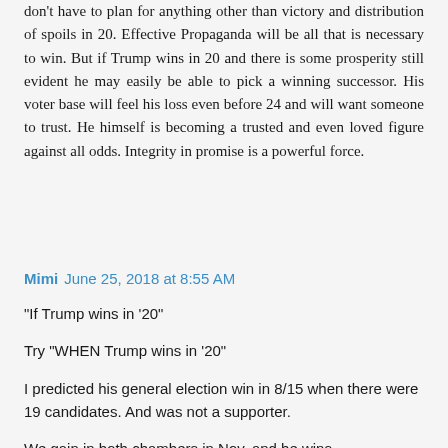don't have to plan for anything other than victory and distribution of spoils in 20. Effective Propaganda will be all that is necessary to win. But if Trump wins in 20 and there is some prosperity still evident he may easily be able to pick a winning successor. His voter base will feel his loss even before 24 and will want someone to trust. He himself is becoming a trusted and even loved figure against all odds. Integrity in promise is a powerful force.
Mimi  June 25, 2018 at 8:55 AM
"If Trump wins in '20"

Try "WHEN Trump wins in '20"

I predicted his general election win in 8/15 when there were 19 candidates. And was not a supporter.

We gain in both chambers in Nov, and he wins